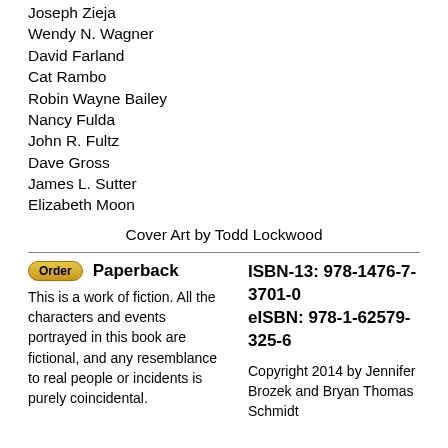Joseph Zieja
Wendy N. Wagner
David Farland
Cat Rambo
Robin Wayne Bailey
Nancy Fulda
John R. Fultz
Dave Gross
James L. Sutter
Elizabeth Moon
Cover Art by Todd Lockwood
Order   Paperback
This is a work of fiction. All the characters and events portrayed in this book are fictional, and any resemblance to real people or incidents is purely coincidental.
ISBN-13: 978-1476-7-3701-0
eISBN: 978-1-62579-325-6
Copyright 2014 by Jennifer Brozek and Bryan Thomas Schmidt